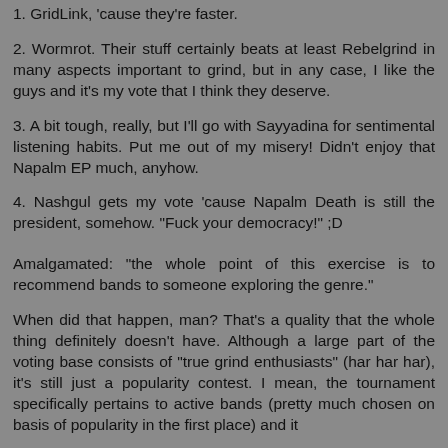1. GridLink, 'cause they're faster.
2. Wormrot. Their stuff certainly beats at least Rebelgrind in many aspects important to grind, but in any case, I like the guys and it's my vote that I think they deserve.
3. A bit tough, really, but I'll go with Sayyadina for sentimental listening habits. Put me out of my misery! Didn't enjoy that Napalm EP much, anyhow.
4. Nashgul gets my vote 'cause Napalm Death is still the president, somehow. "Fuck your democracy!" ;D
Amalgamated: "the whole point of this exercise is to recommend bands to someone exploring the genre."
When did that happen, man? That's a quality that the whole thing definitely doesn't have. Although a large part of the voting base consists of "true grind enthusiasts" (har har har), it's still just a popularity contest. I mean, the tournament specifically pertains to active bands (pretty much chosen on basis of popularity in the first place) and it